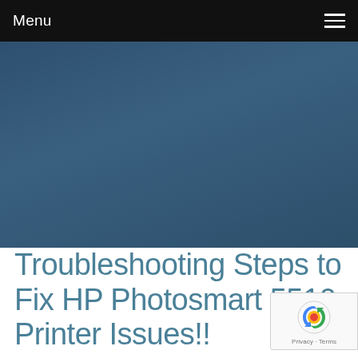Menu
[Figure (photo): Dark steel-blue hero image banner, solid gradient background]
Troubleshooting Steps to Fix HP Photosmart 5510 Printer Issues!!